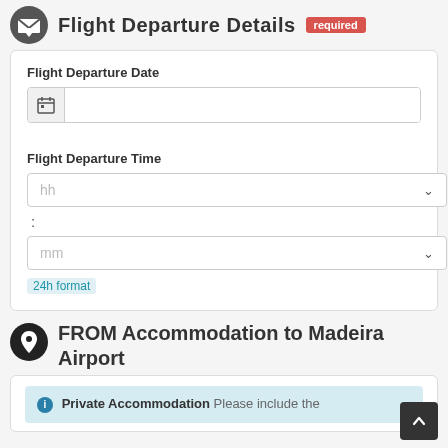Flight Departure Details required
Flight Departure Date
[Figure (screenshot): Date input field with calendar icon on the left and empty text input area]
Flight Departure Time
[Figure (screenshot): Time input dropdowns: hh dropdown, colon separator, mm dropdown, with 24h format note in blue]
FROM Accommodation to Madeira Airport
Private Accommodation Please include the